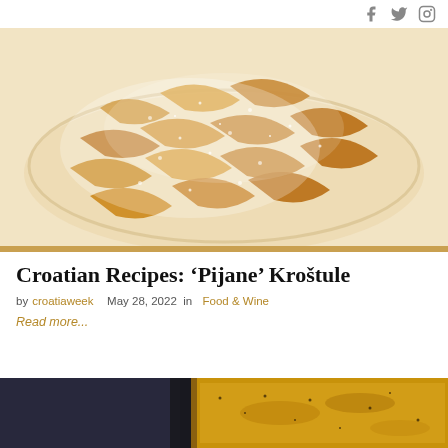Social media icons: Facebook, Twitter, Instagram
[Figure (photo): Plate of kroštule (fried dough pastries) dusted with powdered sugar, arranged on a round glass plate on a light beige surface]
Croatian Recipes: ‘Pijane’ Kroštule
by croatiaweek   May 28, 2022   in   Food & Wine
Read more...
[Figure (photo): Close-up of a baking dish with a golden batter or food mixture, partially visible at the bottom of the page]